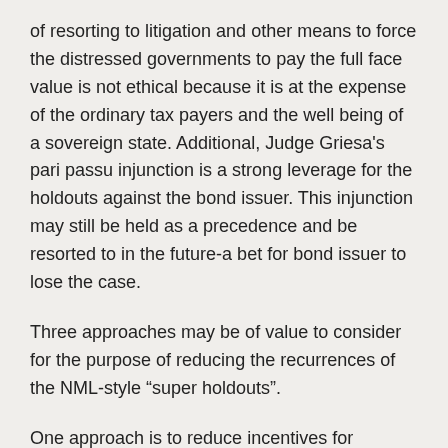of resorting to litigation and other means to force the distressed governments to pay the full face value is not ethical because it is at the expense of the ordinary tax payers and the well being of a sovereign state. Additional, Judge Griesa's pari passu injunction is a strong leverage for the holdouts against the bond issuer. This injunction may still be held as a precedence and be resorted to in the future-a bet for bond issuer to lose the case.
Three approaches may be of value to consider for the purpose of reducing the recurrences of the NML-style “super holdouts”.
One approach is to reduce incentives for holdouts. It is common business practice for goods and services bought at huge discount in retail stores or via internet to have clear stipulations that they are either not refundable or cannot be changed or returned. People take it for granted